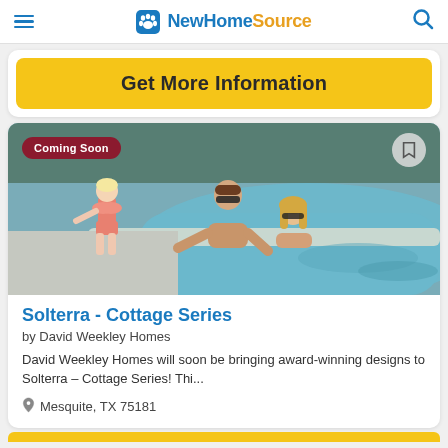NewHomeSource
Get More Information
[Figure (photo): Family at a swimming pool. A young girl in a pink bikini stands on the pool edge, while a man and woman in the pool reach out toward her. Coming Soon badge top-left.]
Solterra - Cottage Series
by David Weekley Homes
David Weekley Homes will soon be bringing award-winning designs to Solterra – Cottage Series! Thi...
Mesquite, TX 75181